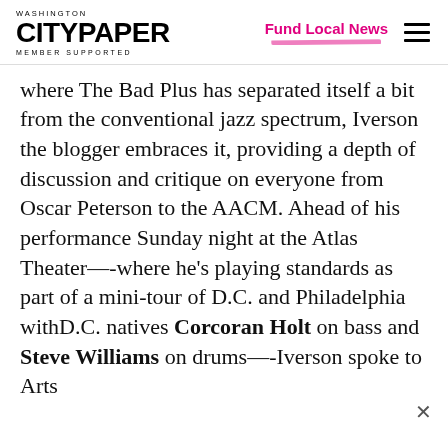Washington City Paper — MEMBER SUPPORTED | Fund Local News
where The Bad Plus has separated itself a bit from the conventional jazz spectrum, Iverson the blogger embraces it, providing a depth of discussion and critique on everyone from Oscar Peterson to the AACM. Ahead of his performance Sunday night at the Atlas Theater—-where he's playing standards as part of a mini-tour of D.C. and Philadelphia withD.C. natives Corcoran Holt on bass and Steve Williams on drums—-Iverson spoke to Arts Desk about the ...